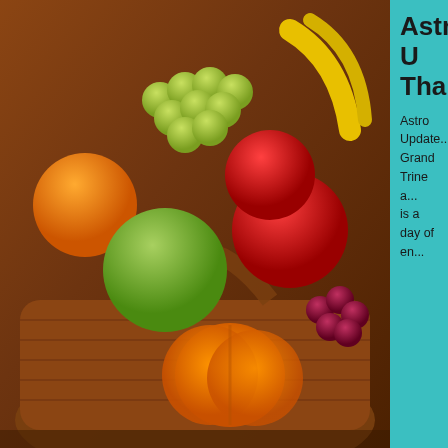[Figure (photo): Wicker basket filled with colorful autumn harvest fruits: green and red grapes, green apple, red apples, orange pumpkin, and other fruits on a warm background]
Astro U
Thanks
Astro Update... Grand Trine a... is a day of en...
[Figure (photo): Large decorative letters or sign with navy blue curved letter shapes on a light gray background, showing partial letters]
Astro U
Tomorrow, W... opposing Ura... energies, cha...